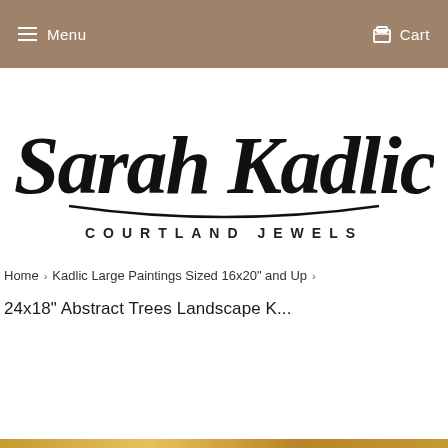Menu   Cart
[Figure (logo): Sarah Kadlic Courtland Jewels cursive script logo with 'COURTLAND JEWELS' in spaced capital letters below]
Home › Kadlic Large Paintings Sized 16x20" and Up ›
24x18" Abstract Trees Landscape K...